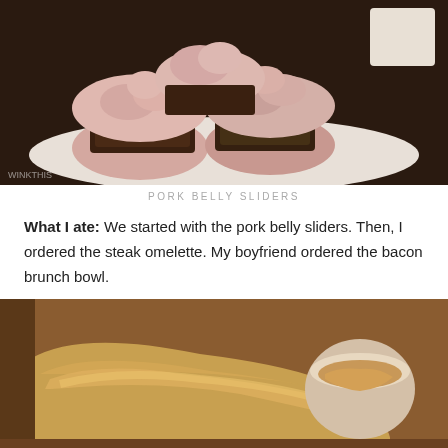[Figure (photo): Close-up photo of pork belly sliders on a white plate — glazed donut buns with dark braised pork belly filling, stacked together]
PORK BELLY SLIDERS
What I ate: We started with the pork belly sliders. Then, I ordered the steak omelette. My boyfriend ordered the bacon brunch bowl.
[Figure (photo): Close-up photo of a steak omelette on a plate with a creamy sauce poured over it, alongside a small white ramekin with dipping sauce]